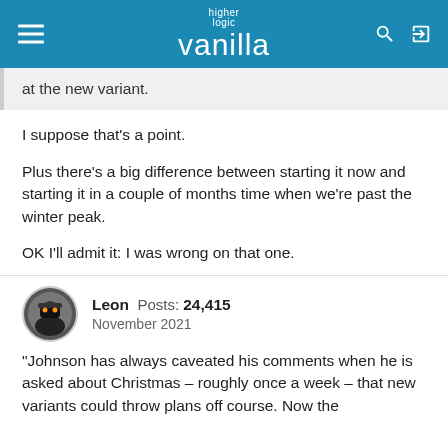higher logic vanilla
at the new variant.
I suppose that's a point.
Plus there's a big difference between starting it now and starting it in a couple of months time when we're past the winter peak.
OK I'll admit it: I was wrong on that one.
Leon  Posts: 24,415  November 2021
"Johnson has always caveated his comments when he is asked about Christmas – roughly once a week – that new variants could throw plans off course. Now the